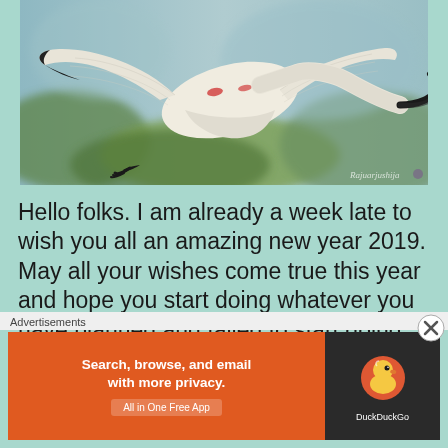[Figure (photo): A white ibis bird with black-tipped beak and black-tipped feet in flight, wings spread, against a blurred green background. Watermark text 'Rajuarjushija' in bottom right corner.]
Hello folks. I am already a week late to wish you all an amazing new year 2019. May all your wishes come true this year and hope you start doing whatever you have planned and failed to start doing till now. Because you know what, its
Advertisements
[Figure (screenshot): DuckDuckGo advertisement banner. Left side orange background with white text: 'Search, browse, and email with more privacy. All in One Free App'. Right side dark background with DuckDuckGo logo (duck icon) and 'DuckDuckGo' text.]